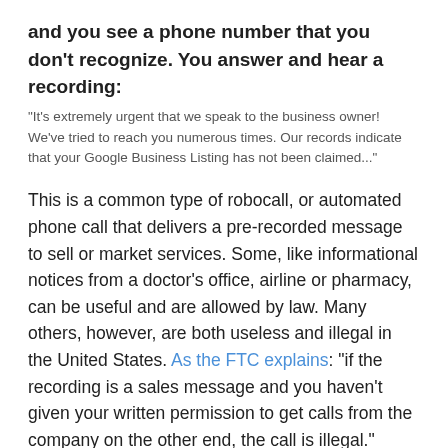and you see a phone number that you don't recognize. You answer and hear a recording:
"It's extremely urgent that we speak to the business owner! We've tried to reach you numerous times. Our records indicate that your Google Business Listing has not been claimed..."
This is a common type of robocall, or automated phone call that delivers a pre-recorded message to sell or market services. Some, like informational notices from a doctor's office, airline or pharmacy, can be useful and are allowed by law. Many others, however, are both useless and illegal in the United States. As the FTC explains: “if the recording is a sales message and you haven't given your written permission to get calls from the company on the other end, the call is illegal.”
Robocallers have targeted Google users for many years.